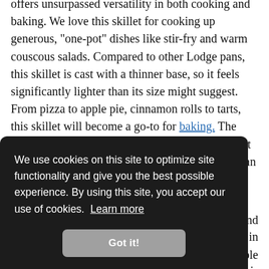offers unsurpassed versatility in both cooking and baking. We love this skillet for cooking up generous, "one-pot" dishes like stir-fry and warm couscous salads. Compared to other Lodge pans, this skillet is cast with a thinner base, so it feels significantly lighter than its size might suggest. From pizza to apple pie, cinnamon rolls to tarts, this skillet will become a go-to for baking. The dual handles make it much easier to lift in and out of the oven, and a quality finish means that the pan quickly begins to accept excess oil and butter...
We use cookies on this site to optimize site functionality and give you the best possible experience. By using this site, you accept our use of cookies. Learn more
Got it!
...and in
ble nter is
significantly hotter than the sides. While this pan does not